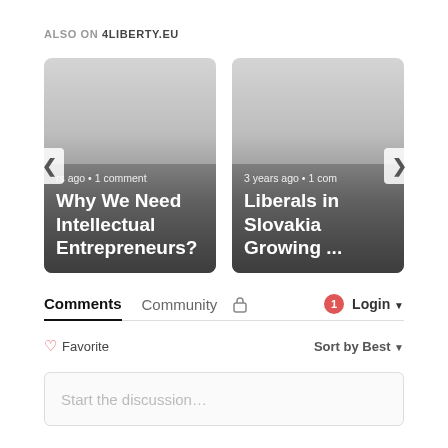ALSO ON 4LIBERTY.EU
[Figure (screenshot): Card 1: Article thumbnail with title 'Why We Need Intellectual Entrepreneurs?' and meta 'rs ago • 1 comment']
[Figure (screenshot): Card 2: Article thumbnail with title 'Liberals in Slovakia Growing ...' and meta '3 years ago • 1 com']
Comments  Community  🔒  1  Login
♡ Favorite   Sort by Best
Start the discussion...